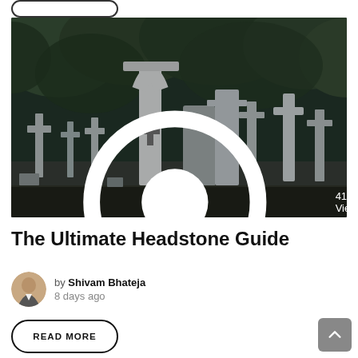[Figure (photo): Cemetery photo showing multiple stone crosses and headstones with dark green trees in the background, moody monochrome toned image]
The Ultimate Headstone Guide
by Shivam Bhateja
8 days ago
READ MORE